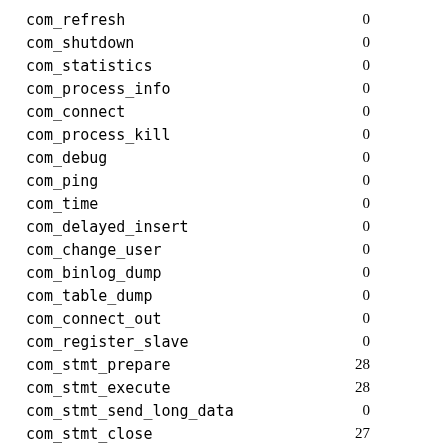| name | value |
| --- | --- |
| com_refresh | 0 |
| com_shutdown | 0 |
| com_statistics | 0 |
| com_process_info | 0 |
| com_connect | 0 |
| com_process_kill | 0 |
| com_debug | 0 |
| com_ping | 0 |
| com_time | 0 |
| com_delayed_insert | 0 |
| com_change_user | 0 |
| com_binlog_dump | 0 |
| com_table_dump | 0 |
| com_connect_out | 0 |
| com_register_slave | 0 |
| com_stmt_prepare | 28 |
| com_stmt_execute | 28 |
| com_stmt_send_long_data | 0 |
| com_stmt_close | 27 |
| com_stmt_reset | 0 |
| com_stmt_option | 0 |